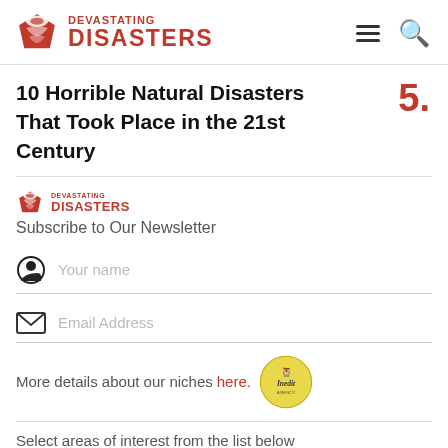DEVASTATING DISASTERS
10 Horrible Natural Disasters That Took Place in the 21st Century 5.
[Figure (logo): Devastating Disasters logo with tornado icon]
Subscribe to Our Newsletter
Your name
Email Address
More details about our niches here.
Select areas of interest from the list below